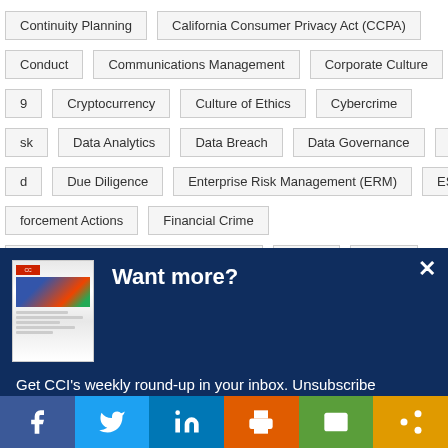Continuity Planning
California Consumer Privacy Act (CCPA)
Conduct
Communications Management
Corporate Culture
9
Cryptocurrency
Culture of Ethics
Cybercrime
sk
Data Analytics
Data Breach
Data Governance
DOJ
d
Due Diligence
Enterprise Risk Management (ERM)
ESG
forcement Actions
Financial Crime
Crimes Enforcement Network (FinCEN)
GDPR
HIPAA
[Figure (screenshot): Modal popup on dark blue background with newsletter thumbnail, 'Want more?' title and 'Get CCI's weekly round-up in your inbox. Unsubscribe anytime.' text with 'Let's do this!' button]
Facebook | Twitter | LinkedIn | Print | Email | Share